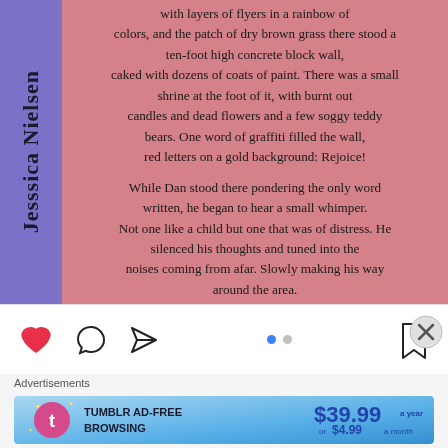[Figure (screenshot): Social media post with purple sidebar showing author name 'Jesssica Nielsen' rotated vertically, and pink background with story text excerpt ending in 'Read more at Girltellme.com']
with layers of flyers in a rainbow of colors, and the patch of dry brown grass there stood a ten-foot high concrete block wall, caked with dozens of coats of paint. There was a small shrine at the foot of it, with burnt out candles and dead flowers and a few soggy teddy bears. One word of graffiti filled the wall, red letters on a gold background: Rejoice!

While Dan stood there pondering the only word written, he began to hear a small whimper. Not one like a child but one that was of distress. He silenced his thoughts and tuned into the noises coming from afar. Slowly making his way around the area.

Read more at Girltellme.com
[Figure (screenshot): Social media action icons bar: heart (liked/red), comment bubble, send/paper plane, two dots (story indicator), bookmark icon, close X button]
Advertisements
[Figure (screenshot): Tumblr ad banner: 'TUMBLR AD-FREE BROWSING $39.99 a year or $4.99 a month' with Tumblr logo on blue gradient background]